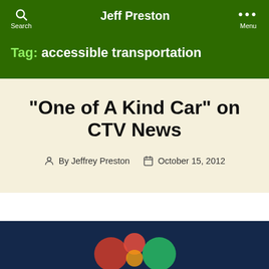Jeff Preston
Tag: accessible transportation
“One of A Kind Car” on CTV News
By Jeffrey Preston   October 15, 2012
[Figure (screenshot): Partial thumbnail of a CTV News video with dark blue background and colored circles/logo visible at bottom]